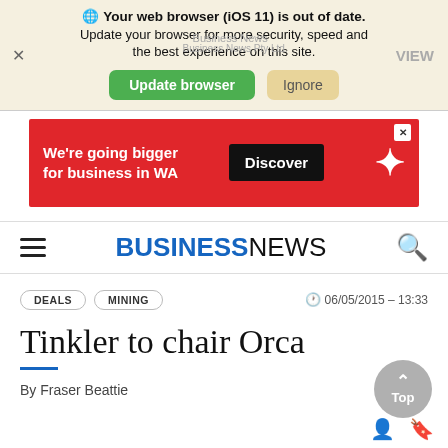[Figure (screenshot): Browser update notification banner with globe icon, text 'Your web browser (iOS 11) is out of date. Update your browser for more security, speed and the best experience on this site.' with 'Update browser' green button and 'Ignore' beige button. Close X on left, VIEW link on right. Business News / Business News Pty Ltd app name shown.]
[Figure (screenshot): Advertisement banner: red background with white bold text 'We’re going bigger for business in WA', black 'Discover' button, white star logo on right, close X in top-right corner.]
BUSINESSNEWS
DEALS   MINING   06/05/2015 - 13:33
Tinkler to chair Orca
By Fraser Beattie